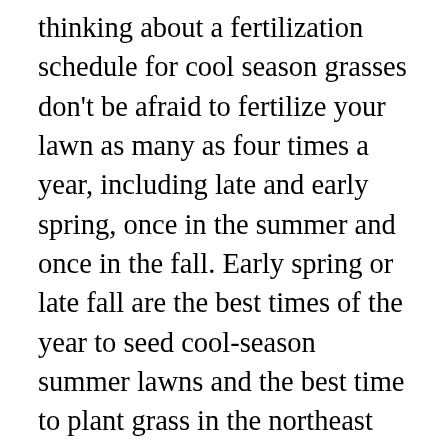thinking about a fertilization schedule for cool season grasses don't be afraid to fertilize your lawn as many as four times a year, including late and early spring, once in the summer and once in the fall. Early spring or late fall are the best times of the year to seed cool-season summer lawns and the best time to plant grass in the northeast region. During winter, new grass leaves will still appear but at a very slow rate – about every 35-40 days (unless we have freezing cold conditions outside). The leaves have a gray-green color. Salt runoff can damage grasses and other plants. If you test now, you'll get results back in time to make any soil corrections before things really heat up in the spring. The Best of